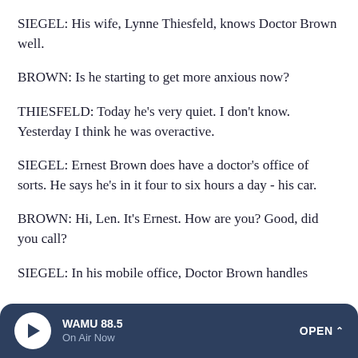SIEGEL: His wife, Lynne Thiesfeld, knows Doctor Brown well.
BROWN: Is he starting to get more anxious now?
THIESFELD: Today he's very quiet. I don't know. Yesterday I think he was overactive.
SIEGEL: Ernest Brown does have a doctor's office of sorts. He says he's in it four to six hours a day - his car.
BROWN: Hi, Len. It's Ernest. How are you? Good, did you call?
SIEGEL: In his mobile office, Doctor Brown handles
WAMU 88.5 On Air Now OPEN